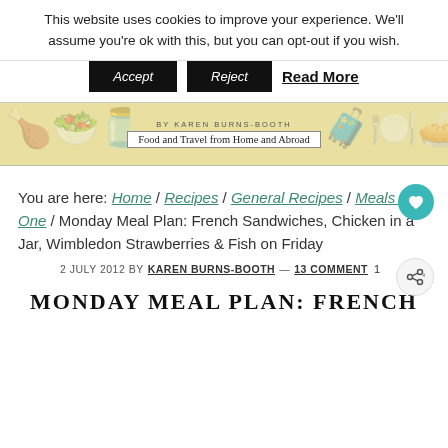This website uses cookies to improve your experience. We'll assume you're ok with this, but you can opt-out if you wish.
Accept  Reject  Read More
[Figure (illustration): Food and travel blog header banner with illustrated food icons on a yellow background. Text: BY KAREN BURNS-BOOTH / Food and Travel from Home and Abroad]
You are here: Home / Recipes / General Recipes / Meals for One / Monday Meal Plan: French Sandwiches, Chicken in a Jar, Wimbledon Strawberries & Fish on Friday
2 JULY 2012 BY KAREN BURNS-BOOTH — 13 COMMENTS 1
MONDAY MEAL PLAN: FRENCH